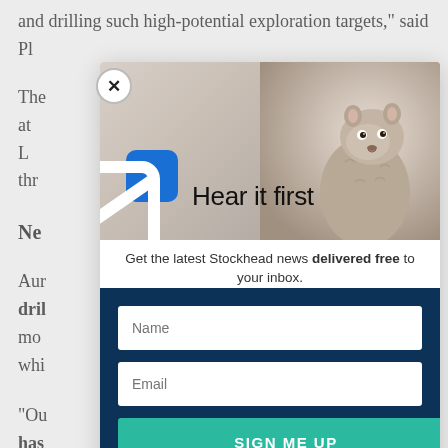and drilling such high-potential exploration targets," said
Pl...
The... d at L... w, thr...
Ne...
Aur... n dril... has mo... whi...
"Ou... n has... sha... lds tar... Pla...
[Figure (screenshot): Newsletter signup modal popup overlay on top of article text. Modal contains: ground squirrel/marmot photo top right, blue email icon, 'Hear it first' heading, tagline 'Get the latest Stockhead news delivered free to your inbox.', Name input field, Email input field, SIGN ME UP button in teal. Close (X) button top left corner of modal. Dark navy blue background for the form section.]